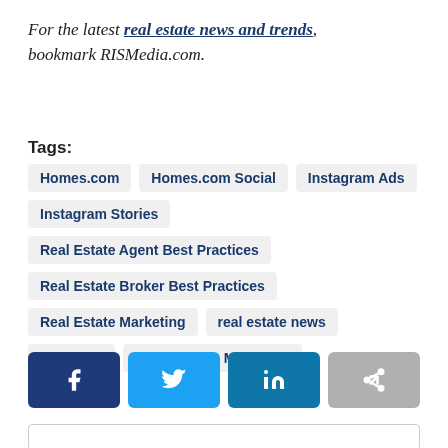For the latest real estate news and trends, bookmark RISMedia.com.
Tags: Homes.com | Homes.com Social | Instagram Ads | Instagram Stories | Real Estate Agent Best Practices | Real Estate Broker Best Practices | Real Estate Marketing | real estate news | Snapchat | Social Media Marketing
[Figure (infographic): Social share buttons: Facebook, Twitter, LinkedIn, Share]
Comment box area